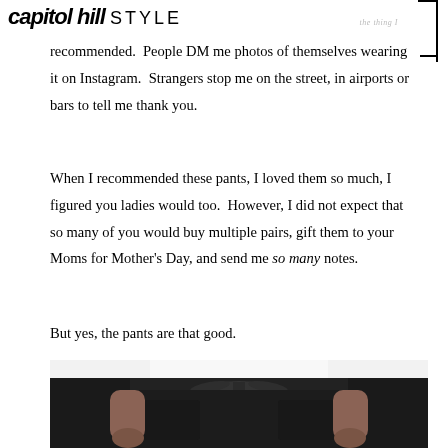capitol hill STYLE
recommended.  People DM me photos of themselves wearing it on Instagram.  Strangers stop me on the street, in airports or bars to tell me thank you.
When I recommended these pants, I loved them so much, I figured you ladies would too.  However, I did not expect that so many of you would buy multiple pairs, gift them to your Moms for Mother's Day, and send me so many notes.
But yes, the pants are that good.
[Figure (photo): Photo of a person wearing black paper-bag waist pants with a white top, hands in pockets, cropped to show waist and hips]